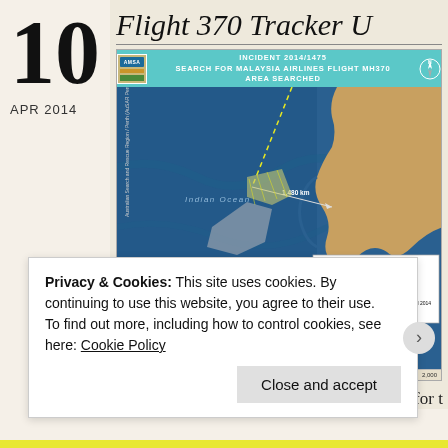10
APR 2014
Flight 370 Tracker U
[Figure (map): Australian government map showing INCIDENT 2014/1475 SEARCH FOR MALAYSIA AIRLINES FLIGHT MH370 AREA SEARCHED. The map depicts the southern Indian Ocean and Southern Ocean near western Australia, showing calculated flight path range (yellow hatching) and search areas: Tuesday 02 April 2014 (planned) and Tuesday 18 March - Tuesday 01 April 2014. A measurement arrow shows 1,480 km. Map prepared: 02 April 2014.]
box.” The Chinese sailors heard such pings for t
Privacy & Cookies: This site uses cookies. By continuing to use this website, you agree to their use.
To find out more, including how to control cookies, see here: Cookie Policy
Close and accept